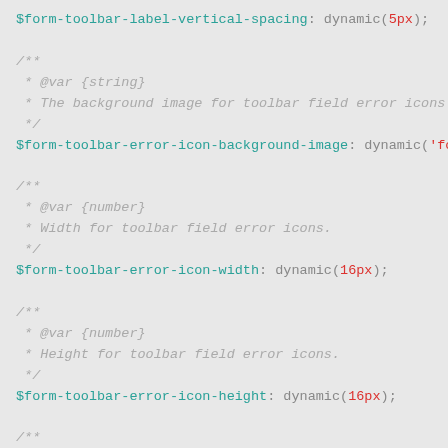Code snippet showing SCSS variable declarations with JSDoc comments for form toolbar error icon properties.